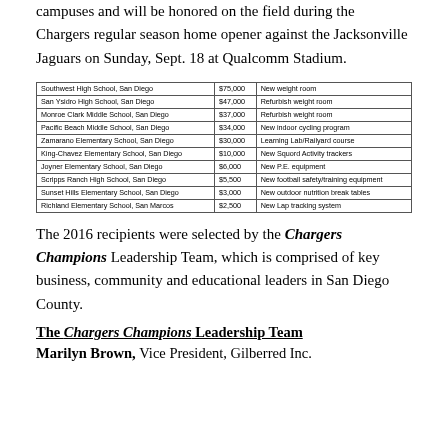campuses and will be honored on the field during the Chargers regular season home opener against the Jacksonville Jaguars on Sunday, Sept. 18 at Qualcomm Stadium.
| School | Amount | Purpose |
| --- | --- | --- |
| Southwest High School, San Diego | $75,000 | New weight room |
| San Ysidro High School, San Diego | $47,000 | Refurbish weight room |
| Monroe Clark Middle School, San Diego | $37,000 | Refurbish weight room |
| Pacific Beach Middle School, San Diego | $34,000 | New indoor cycling program |
| Zamarano Elementary School, San Diego | $30,000 | Learning Lab/Railyard course |
| King-Chavez Elementary School, San Diego | $10,000 | New Squord Activity trackers |
| Joyner Elementary School, San Diego | $6,000 | New P.E. equipment |
| Scripps Ranch High School, San Diego | $5,500 | New football safety/training equipment |
| Sunset Hills Elementary School, San Diego | $3,000 | New outdoor nutrition break tables |
| Richland Elementary School, San Marcos | $2,500 | New Lap tracking system |
The 2016 recipients were selected by the Chargers Champions Leadership Team, which is comprised of key business, community and educational leaders in San Diego County.
The Chargers Champions Leadership Team
Marilyn Brown, Vice President, Gilberted Inc.